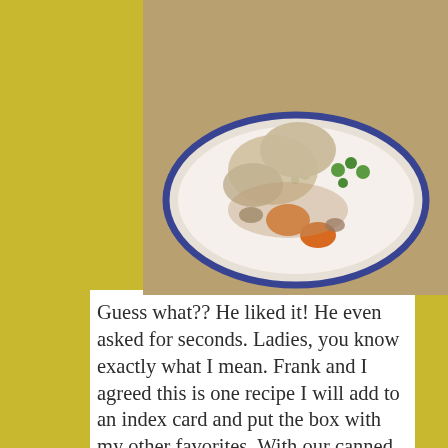[Figure (photo): A white plate with a blue rim containing a home-cooked meal of chicken, carrots, peas, and mushrooms in a creamy sauce, on a floral yellow background]
Guess what?? He liked it! He even asked for seconds. Ladies, you know exactly what I mean. Frank and I agreed this is one recipe I will add to an index card and put the box with my other favorites. With our canned ingredients, this is a great homegrown, homemade meal that is quick to fix, nutritious and great tasting. In this meal I used our canned chicken, broth and carrots. Now, this summer I need to can some peas, as well. The more meals we can